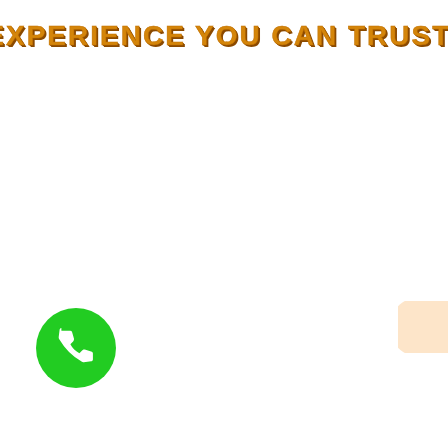EXPERIENCE YOU CAN TRUST!
[Figure (illustration): Green circular phone button with white telephone handset icon, positioned at bottom left of page]
[Figure (illustration): Peach/light orange rounded blob shape partially visible at right edge of page]